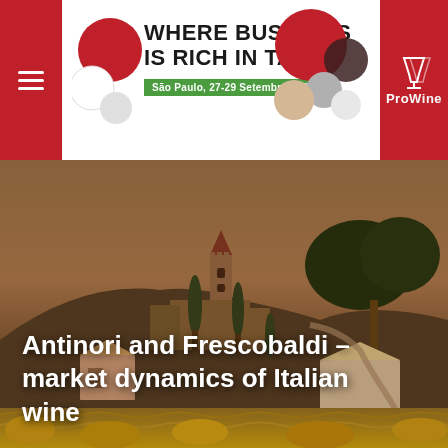[Figure (other): ProWine São Paulo 2022 banner: 'WHERE BUSINESS IS RICH IN TASTE', São Paulo, 27-29 Setembro 2022, with decorative circles and ProWine logo]
[Figure (photo): Scenic photograph of an Italian hilltop estate with castle tower, cypress trees, vineyards in the foreground, taken in autumn/dusk light with warm brownish tones]
Antinori and Frescobaldi – market dynamics of Italian wine